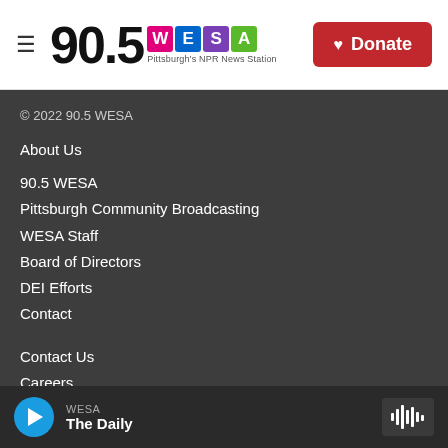[Figure (logo): 90.5 WESA Pittsburgh NPR News Station logo with colored letter blocks and Donate button]
© 2022 90.5 WESA
About Us
90.5 WESA
Pittsburgh Community Broadcasting
WESA Staff
Board of Directors
DEI Efforts
Contact
Contact Us
Careers
Resources
Reports & Resources
Public Files
Privacy & Terms of Use
COVID-19
WESA – The Daily